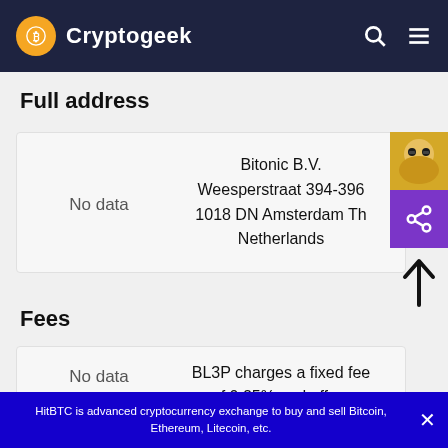Cryptogeek
Full address
|  |  |
| --- | --- |
| No data | Bitonic B.V.
Weesperstraat 394-396
1018 DN Amsterdam The
Netherlands |
Fees
|  |  |
| --- | --- |
| No data | BL3P charges a fixed fee of 0.25% and offers |
HitBTC is advanced cryptocurrency exchange to buy and sell Bitcoin, Ethereum, Litecoin, etc.